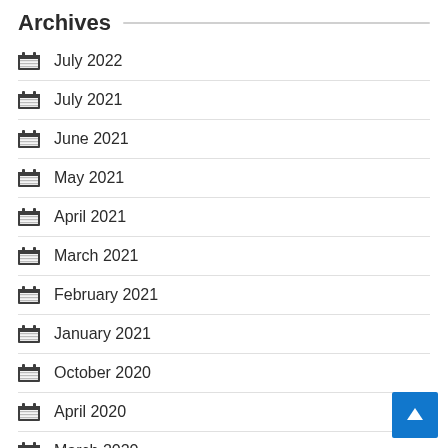Archives
July 2022
July 2021
June 2021
May 2021
April 2021
March 2021
February 2021
January 2021
October 2020
April 2020
March 2020
February 2020